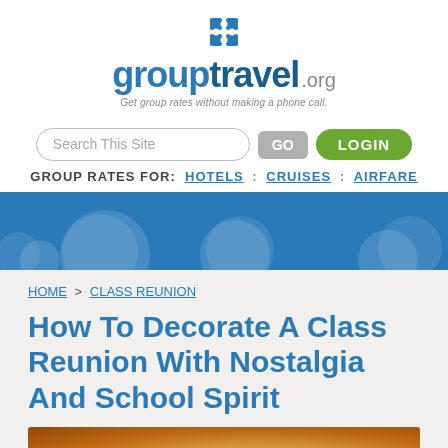[Figure (logo): grouptravel.org logo with puzzle-piece icon and tagline: Get group rates without making a phone call.]
Search This Site  GO  LOGIN
GROUP RATES FOR:  HOTELS  :  CRUISES  :  AIRFARE
[Figure (illustration): Blue banner strip with faint white decorative circle/puzzle shapes]
HOME > CLASS REUNION
How To Decorate A Class Reunion With Nostalgia And School Spirit
[Figure (photo): Partial photo at bottom of page, warm orange/brown tones]